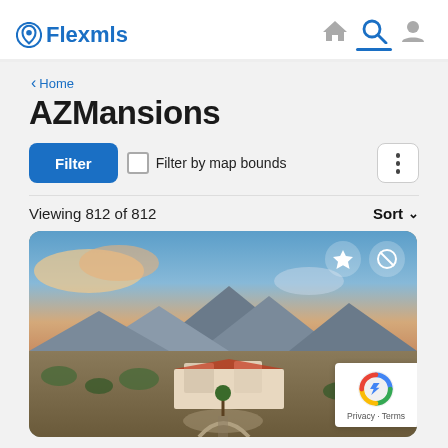Flexmls navigation header with logo, home icon, search icon, and profile icon
< Home
AZMansions
Filter | Filter by map bounds | [menu]
Viewing 812 of 812   Sort ∨
[Figure (photo): Aerial photo of a large desert estate with mountains in the background at sunset, with star and block icons overlaid in the top right corner]